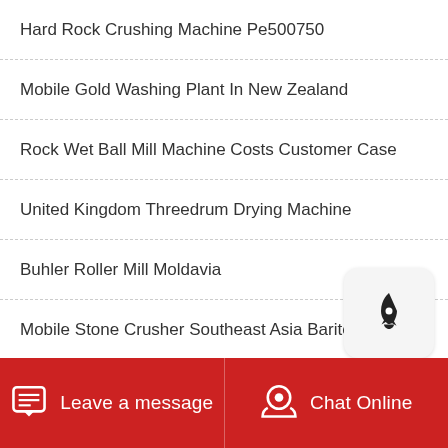Hard Rock Crushing Machine Pe500750
Mobile Gold Washing Plant In New Zealand
Rock Wet Ball Mill Machine Costs Customer Case
United Kingdom Threedrum Drying Machine
Buhler Roller Mill Moldavia
Mobile Stone Crusher Southeast Asia Barite Micro…
Felsite Magnetic Separator Plants Felsite Ball Mill …
Roller Crusher Steamfrom Brazil
Leave a message   Chat Online